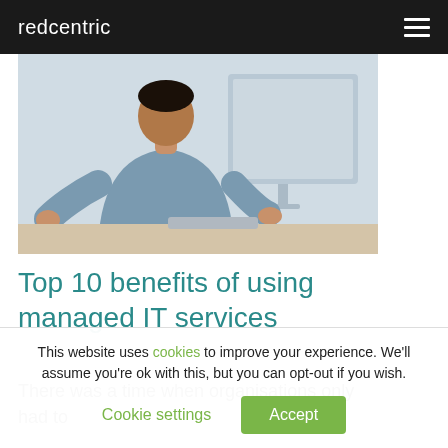redcentric
[Figure (photo): A man in a grey button-up shirt sits at a desk, working at a desktop computer with a large monitor. The background is light and out of focus.]
Top 10 benefits of using managed IT services
There was a time when organisations only had to
This website uses cookies to improve your experience. We'll assume you're ok with this, but you can opt-out if you wish. Cookie settings Accept